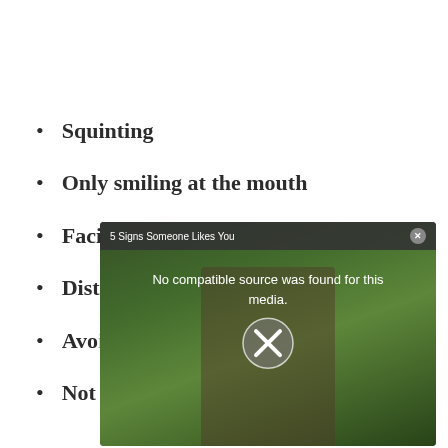Squinting
Only smiling at the mouth
Facing away
Distancing himself/herself
Avoiding eye contact
Not asking you questions
[Figure (screenshot): Video player overlay showing '5 Signs Someone Likes You' with message 'No compatible source was found for this media.' and a close/stop button, overlaid on a garden background with a couple.]